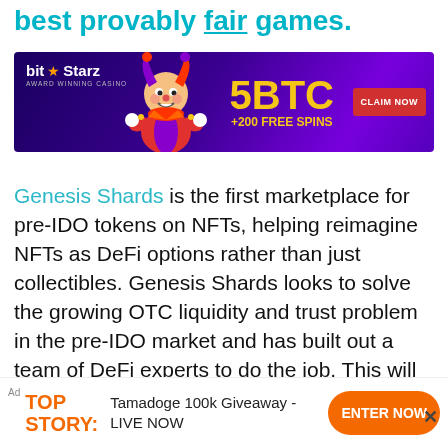best provably fair games.
[Figure (illustration): BitStarz casino advertisement banner with jester character, offering 5BTC + 200 Free Spins with a CLAIM NOW button]
Genesis Shards is the first marketplace for pre-IDO tokens on NFTs, helping reimagine NFTs as DeFi options rather than just collectibles. Genesis Shards looks to solve the growing OTC liquidity and trust problem in the pre-IDO market and has built out a team of DeFi experts to do the job. This will unlock a new world of opportunities for fungible tokens, investors, and projects looking to tap into Genesis Shards' expansive DeFi product suite.
This website uses cookies. By continuing to use this website
Ad  TOP STORY:  Tamadoge 100k Giveaway - LIVE NOW  ENTER NOW